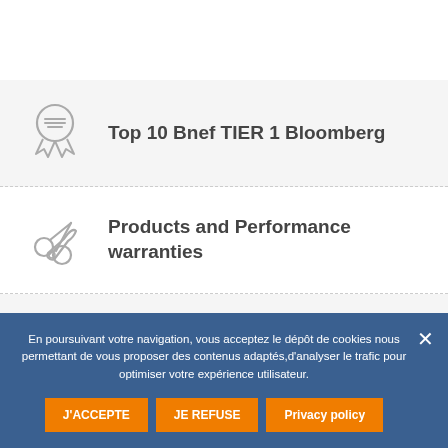[Figure (illustration): Award/medal ribbon icon in gray outline style]
Top 10 Bnef TIER 1 Bloomberg
[Figure (illustration): Scissors and wrench/tools icon in gray outline style]
Products and Performance warranties
[Figure (illustration): Shield/helmet icon in gray outline style]
Supported by Banks
En poursuivant votre navigation, vous acceptez le dépôt de cookies nous permettant de vous proposer des contenus adaptés,d'analyser le trafic pour optimiser votre expérience utilisateur.
J'ACCEPTE
JE REFUSE
Privacy policy